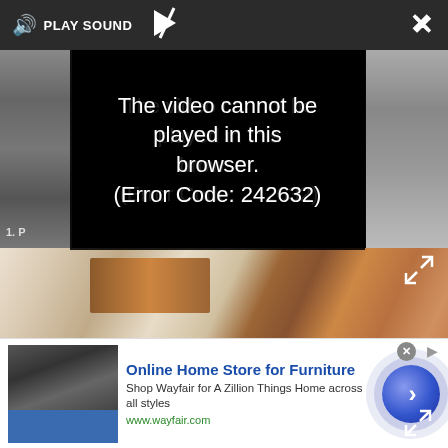[Figure (screenshot): Video player screenshot showing a dark overlay with 'PLAY SOUND' button, a close (X) button, an expand button, and an error message 'The video cannot be played in this browser. (Error Code: 242632)'. Below the overlay is a photo of flooring showing carpet transitioning to wood floor with a wooden baseboard heater visible.]
(Image credit: © Andrea Ceriani)
The lights have been created in different sizes and installed at different heights, adding a sense of
[Figure (screenshot): Advertisement banner for Wayfair - 'Online Home Store for Furniture'. Shows appliance image on left, text content in middle, and a blue circular arrow button on right. URL: www.wayfair.com]